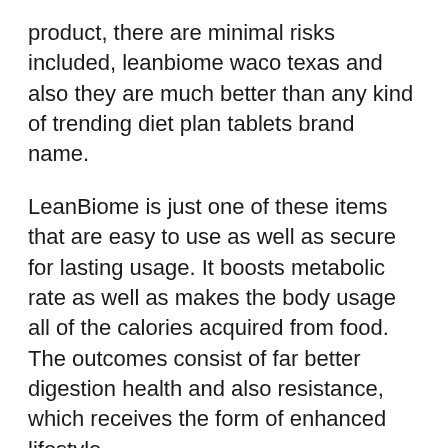product, there are minimal risks included, leanbiome waco texas and also they are much better than any kind of trending diet plan tablets brand name.
LeanBiome is just one of these items that are easy to use as well as secure for lasting usage. It boosts metabolic rate as well as makes the body usage all of the calories acquired from food. The outcomes consist of far better digestion health and also resistance, which receives the form of enhanced lifestyle.
ONLINE PROMOTION: Go Here to Purchase LeanBiome at the Lowest Cost Today